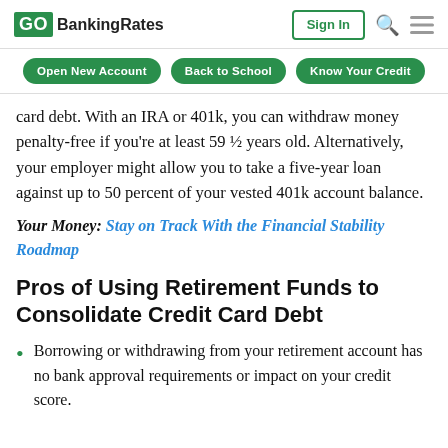GOBankingRates | Sign In
Open New Account | Back to School | Know Your Credit
card debt. With an IRA or 401k, you can withdraw money penalty-free if you're at least 59 ½ years old. Alternatively, your employer might allow you to take a five-year loan against up to 50 percent of your vested 401k account balance.
Your Money: Stay on Track With the Financial Stability Roadmap
Pros of Using Retirement Funds to Consolidate Credit Card Debt
Borrowing or withdrawing from your retirement account has no bank approval requirements or impact on your credit score.